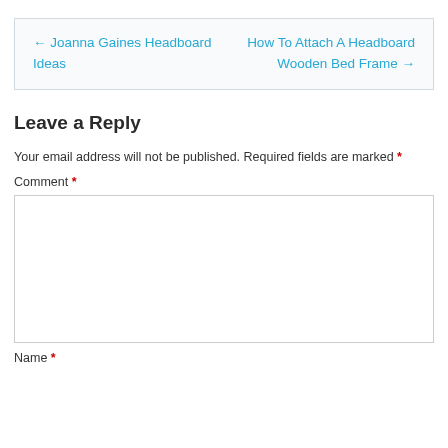← Joanna Gaines Headboard Ideas    How To Attach A Headboard Wooden Bed Frame →
Leave a Reply
Your email address will not be published. Required fields are marked *
Comment *
Name *